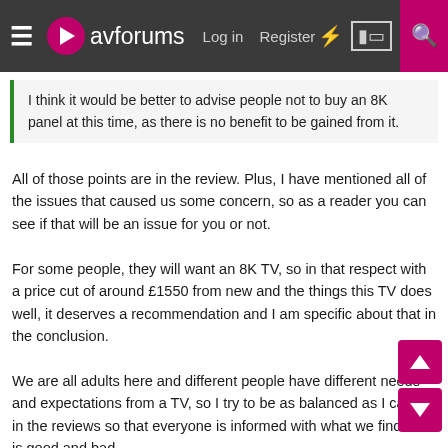avforums — Log in  Register
I think it would be better to advise people not to buy an 8K panel at this time, as there is no benefit to be gained from it.
All of those points are in the review. Plus, I have mentioned all of the issues that caused us some concern, so as a reader you can see if that will be an issue for you or not.
For some people, they will want an 8K TV, so in that respect with a price cut of around £1550 from new and the things this TV does well, it deserves a recommendation and I am specific about that in the conclusion.
We are all adults here and different people have different needs and expectations from a TV, so I try to be as balanced as I can be in the reviews so that everyone is informed with what we find that is good and bad.
You then decide if it is what you're looking for or not, which looking at the thread you have all been able to do from reading